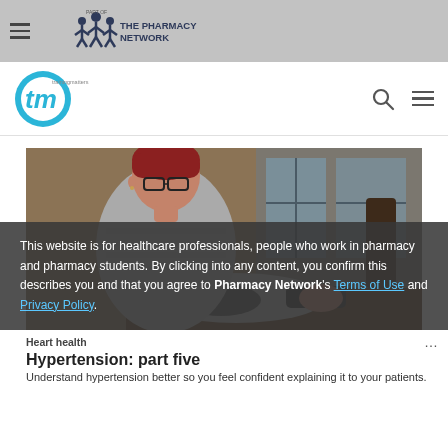Part of The Pharmacy Network — trainingmatters (tm) logo
[Figure (photo): Elderly woman with red hair and glasses measuring her blood pressure with a device at a table near a window.]
Heart health
Hypertension: part five
Understand hypertension better so you feel confident explaining it to your patients.
This website is for healthcare professionals, people who work in pharmacy and pharmacy students. By clicking into any content, you confirm this describes you and that you agree to Pharmacy Network's Terms of Use and Privacy Policy.